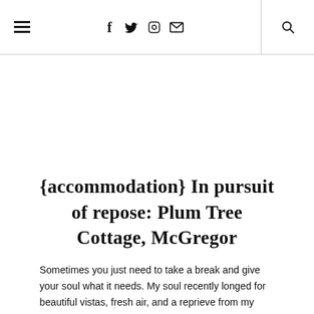Navigation bar with hamburger menu, social icons (f, twitter, instagram, mail), and search icon
{accommodation} In pursuit of repose: Plum Tree Cottage, McGregor
Sometimes you just need to take a break and give your soul what it needs. My soul recently longed for beautiful vistas, fresh air, and a reprieve from my COVID-blighted reality. I found all...